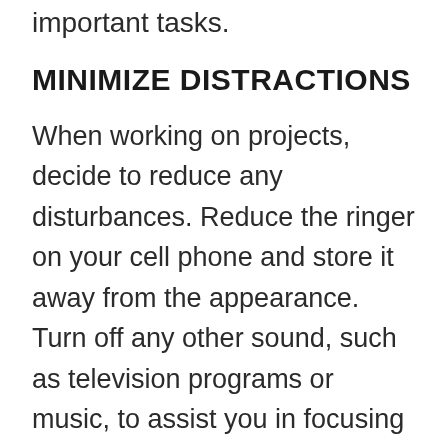important tasks.
MINIMIZE DISTRACTIONS
When working on projects, decide to reduce any disturbances. Reduce the ringer on your cell phone and store it away from the appearance. Turn off any other sound, such as television programs or music, to assist you in focusing on your work. Set expectations with your co-workers and shut your door to avoid delays. Don't avoid socializing with your colleagues but keep it to break times, so you're not skipping in and out of work mode.